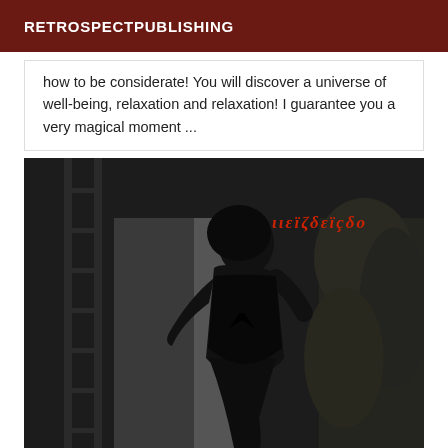RETROSPECTPUBLISHING
how to be considerate! You will discover a universe of well-being, relaxation and relaxation! I guarantee you a very magical moment ...
[Figure (photo): Dark black and white photograph of a woman seen from behind, wearing a black swimsuit, leaning against a white column. There is a ladder structure on the left and dry vegetation on the right. A red stylized text watermark appears in the upper right area of the photo.]